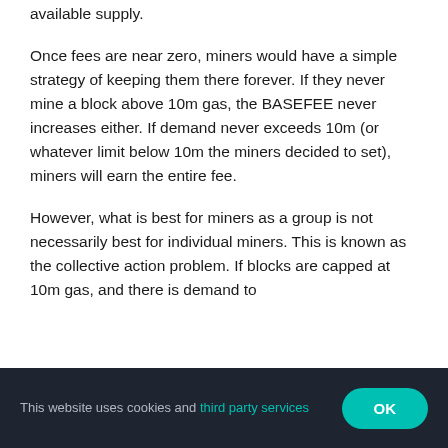available supply.
Once fees are near zero, miners would have a simple strategy of keeping them there forever. If they never mine a block above 10m gas, the BASEFEE never increases either. If demand never exceeds 10m (or whatever limit below 10m the miners decided to set), miners will earn the entire fee.
However, what is best for miners as a group is not necessarily best for individual miners. This is known as the collective action problem. If blocks are capped at 10m gas, and there is demand to
This website uses cookies and third party services